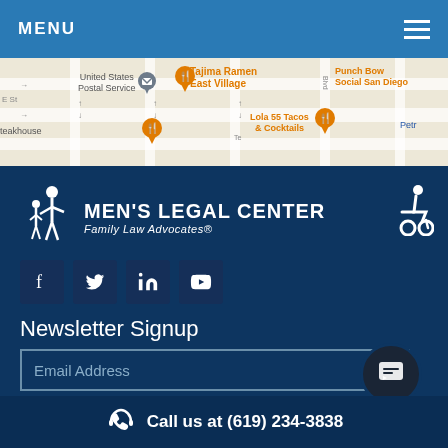MENU
[Figure (map): Google map snippet showing East Village San Diego area with pins for United States Postal Service, Tajima Ramen East Village, Lola 55 Tacos & Cocktails, Punch Bowl Social San Diego, and other locations.]
[Figure (logo): Men's Legal Center - Family Law Advocates logo with white figure silhouettes and text]
[Figure (infographic): Wheelchair accessibility icon in white]
[Figure (infographic): Social media icons: Facebook, Twitter, LinkedIn, YouTube]
Newsletter Signup
Email Address
SUBSCRIBE
Call us at (619) 234-3838